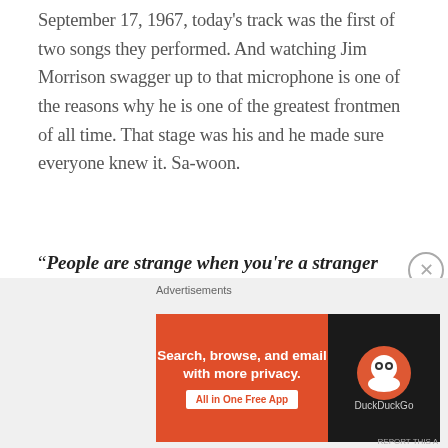September 17, 1967, today's track was the first of two songs they performed. And watching Jim Morrison swagger up to that microphone is one of the reasons why he is one of the greatest frontmen of all time. That stage was his and he made sure everyone knew it. Sa-woon.
"People are strange when you're a stranger Faces look ugly when you're alone Women seem wicked when you're unwanted Streets are uneven when you're down".
[Figure (other): DuckDuckGo advertisement banner: orange left panel reading 'Search, browse, and email with more privacy. All in One Free App' with white button, dark right panel with DuckDuckGo logo]